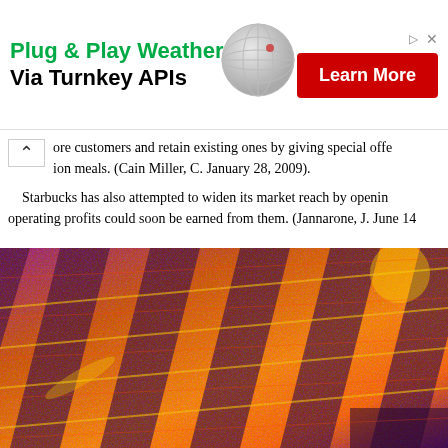[Figure (other): Advertisement banner: 'Plug & Play Weather Data Via Turnkey APIs' with a red 'Learn More' button and a globe graphic, with small arrow and X icons in top right.]
ore customers and retain existing ones by giving special offe... ion meals. (Cain Miller, C. January 28, 2009).
Starbucks has also attempted to widen its market reach by opening... operating profits could soon be earned from them. (Jannarone, J. June 14...
[Figure (photo): A close-up heatmap or false-color microscopy image showing diagonal striped patterns in orange, yellow, and purple/dark blue tones.]